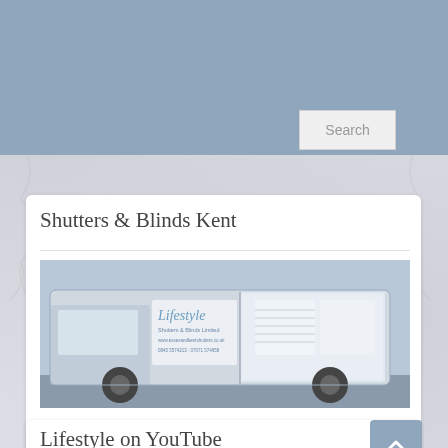Search
Shutters & Blinds Kent
[Figure (photo): A white Lifestyle Shutters & Blinds Limited van with company branding, website and phone number on the side. The van has an image of a room with shutters on the side panel.]
Lifestyle on YouTube